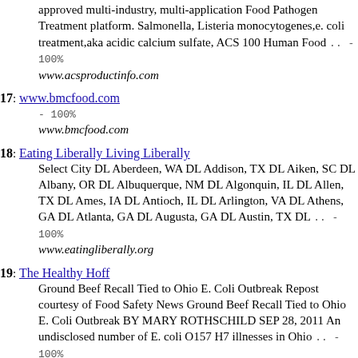approved multi-industry, multi-application Food Pathogen Treatment platform. Salmonella, Listeria monocytogenes,e. coli treatment,aka acidic calcium sulfate, ACS 100 Human Food .. - 100% www.acsproductinfo.com
17: www.bmcfood.com - 100% www.bmcfood.com
18: Eating Liberally Living Liberally Select City DL Aberdeen, WA DL Addison, TX DL Aiken, SC DL Albany, OR DL Albuquerque, NM DL Algonquin, IL DL Allen, TX DL Ames, IA DL Antioch, IL DL Arlington, VA DL Athens, GA DL Atlanta, GA DL Augusta, GA DL Austin, TX DL .. - 100% www.eatingliberally.org
19: The Healthy Hoff Ground Beef Recall Tied to Ohio E. Coli Outbreak Repost courtesy of Food Safety News Ground Beef Recall Tied to Ohio E. Coli Outbreak BY MARY ROTHSCHILD SEP 28, 2011 An undisclosed number of E. coli O157 H7 illnesses in Ohio .. - 100% www.healthyhoff.com